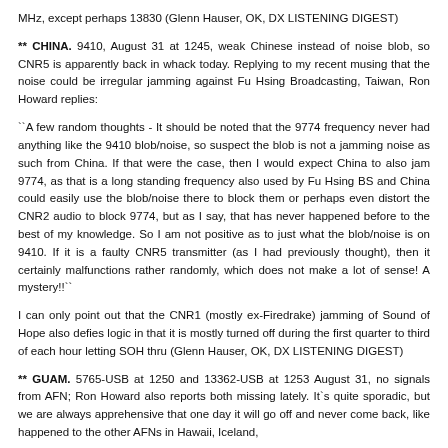MHz, except perhaps 13830 (Glenn Hauser, OK, DX LISTENING DIGEST)
** CHINA. 9410, August 31 at 1245, weak Chinese instead of noise blob, so CNR5 is apparently back in whack today. Replying to my recent musing that the noise could be irregular jamming against Fu Hsing Broadcasting, Taiwan, Ron Howard replies:
``A few random thoughts - It should be noted that the 9774 frequency never had anything like the 9410 blob/noise, so suspect the blob is not a jamming noise as such from China. If that were the case, then I would expect China to also jam 9774, as that is a long standing frequency also used by Fu Hsing BS and China could easily use the blob/noise there to block them or perhaps even distort the CNR2 audio to block 9774, but as I say, that has never happened before to the best of my knowledge. So I am not positive as to just what the blob/noise is on 9410. If it is a faulty CNR5 transmitter (as I had previously thought), then it certainly malfunctions rather randomly, which does not make a lot of sense! A mystery!!``
I can only point out that the CNR1 (mostly ex-Firedrake) jamming of Sound of Hope also defies logic in that it is mostly turned off during the first quarter to third of each hour letting SOH thru (Glenn Hauser, OK, DX LISTENING DIGEST)
** GUAM. 5765-USB at 1250 and 13362-USB at 1253 August 31, no signals from AFN; Ron Howard also reports both missing lately. It`s quite sporadic, but we are always apprehensive that one day it will go off and never come back, like happened to the other AFNs in Hawaii, Iceland,